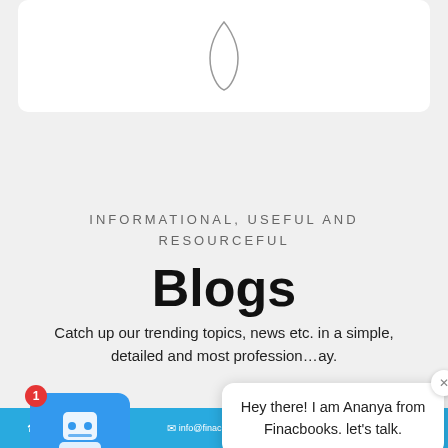[Figure (logo): Partial logo shape visible at top center of a white rounded card]
INFORMATIONAL, USEFUL AND RESOURCEFUL
Blogs
Catch up our trending topics, news etc. in a simple, detailed and most profession...ay.
[Figure (screenshot): Chat popup with robot avatar from Finacbooks saying 'Hey there! I am Ananya from Finacbooks. let's talk.' with a notification badge showing 1, and a close X button]
[Figure (screenshot): Bottom blue banner with contact info: +91 8800221252, info@finacbooks.com, www.finacbooks.com, and a partial image strip below]